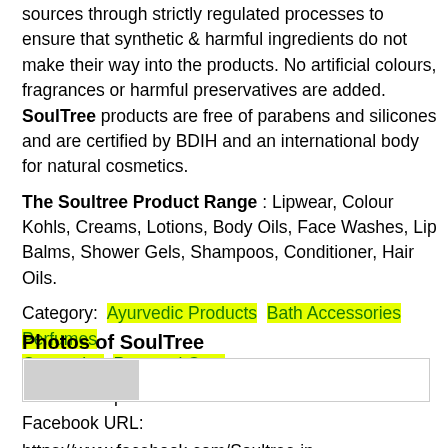sources through strictly regulated processes to ensure that synthetic & harmful ingredients do not make their way into the products. No artificial colours, fragrances or harmful preservatives are added. SoulTree products are free of parabens and silicones and are certified by BDIH and an international body for natural cosmetics.
The Soultree Product Range : Lipwear, Colour Kohls, Creams, Lotions, Body Oils, Face Washes, Lip Balms, Shower Gels, Shampoos, Conditioner, Hair Oils.
Category: Ayurvedic Products  Bath Accessories  Perfumes Cosmetics  Personal Care
Website: http://www.soultree.in/
Facebook URL: https://www.facebook.com/Soultree.in
Twitter URL: https://twitter.com/SoulTree_In/
Google+ URL: https://plus.google.com/+SoultreeIndia/
Photos of SoulTree
[Figure (photo): Photo gallery frame showing a grey thumbnail image placeholder]